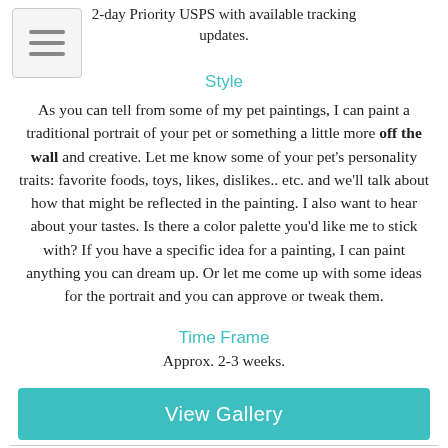2-day Priority USPS with available tracking updates.
Style
As you can tell from some of my pet paintings, I can paint a traditional portrait of your pet or something a little more off the wall and creative. Let me know some of your pet's personality traits: favorite foods, toys, likes, dislikes.. etc. and we'll talk about how that might be reflected in the painting. I also want to hear about your tastes. Is there a color palette you'd like me to stick with? If you have a specific idea for a painting, I can paint anything you can dream up. Or let me come up with some ideas for the portrait and you can approve or tweak them.
Time Frame
Approx. 2-3 weeks.
[Figure (other): Teal/green button labeled 'View Gallery']